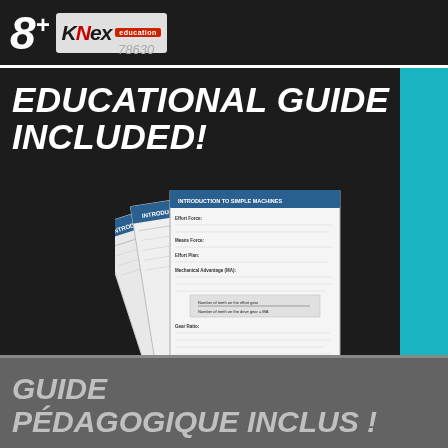[Figure (logo): K'NEX Education logo with age badge 8+ and product number 78630]
78630
EDUCATIONAL GUIDE INCLUDED!
[Figure (photo): Fan of educational guide pages with 'INTRODUCTION TO SIMPLE MACHINES' text, gear diagrams, and key concepts visible]
GUIDE PÉDAGOGIQUE INCLUS !